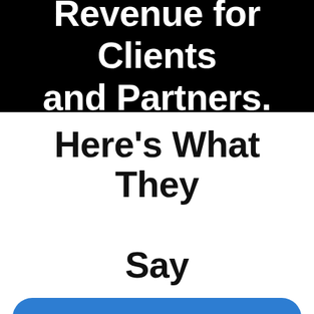Revenue for Clients and Partners.
Here's What They Say
Their depth and breadth of LinkedIn Marketing is just mind blowing